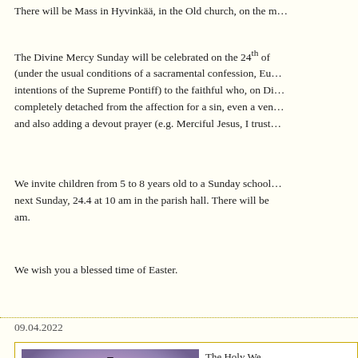There will be Mass in Hyvinkää, in the Old church, on the m…
The Divine Mercy Sunday will be celebrated on the 24th of … (under the usual conditions of a sacramental confession, Eu… intentions of the Supreme Pontiff) to the faithful who, on Di… completely detached from the affection for a sin, even a ven… and also adding a devout prayer (e.g. Merciful Jesus, I trust…
We invite children from 5 to 8 years old to a Sunday school… next Sunday, 24.4 at 10 am in the parish hall. There will be … am.
We wish you a blessed time of Easter.
09.04.2022
[Figure (photo): A silhouette of Jesus on the cross against a dramatic purple and pink sky with rays of light.]
The Holy We… Holy Week w… passion, deat… salvation. Le… devotion: